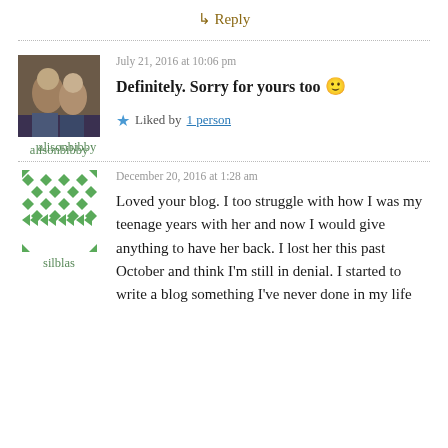↳ Reply
July 21, 2016 at 10:06 pm
[Figure (photo): Avatar photo of alisonbibby showing two children]
alisonbibby
Definitely. Sorry for yours too 🙂
★ Liked by 1 person
December 20, 2016 at 1:28 am
[Figure (illustration): Avatar icon for silblas with green diamond pattern]
silblas
Loved your blog. I too struggle with how I was my teenage years with her and now I would give anything to have her back. I lost her this past October and think I'm still in denial. I started to write a blog something I've never done in my life